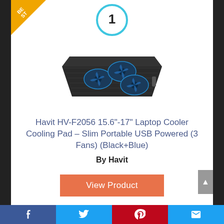[Figure (illustration): Golden 'BEST' corner badge triangle at top-left]
[Figure (illustration): Circle with number 1 in blue stroke, ranking indicator]
[Figure (photo): Havit HV-F2056 laptop cooling pad with 3 blue LED fans on a black base, viewed from an angle]
Havit HV-F2056 15.6"-17" Laptop Cooler Cooling Pad – Slim Portable USB Powered (3 Fans) (Black+Blue)
By Havit
View Product
9.7
Facebook  Twitter  Pinterest  Email